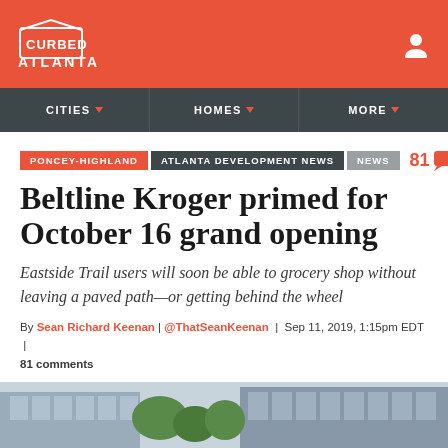CURBED ATLANTA
CITIES | HOMES | MORE
PONCEY-HIGHLAND | ATLANTA DEVELOPMENT NEWS | NEWS | 81 comments
Beltline Kroger primed for October 16 grand opening
Eastside Trail users will soon be able to grocery shop without leaving a paved path—or getting behind the wheel
By Sean Richard Keenan | @ThatSeanKeenan | Sep 11, 2019, 1:15pm EDT | 81 comments
[Figure (photo): Partial view of a modern building exterior with glass windows and green trees, bottom of article image]